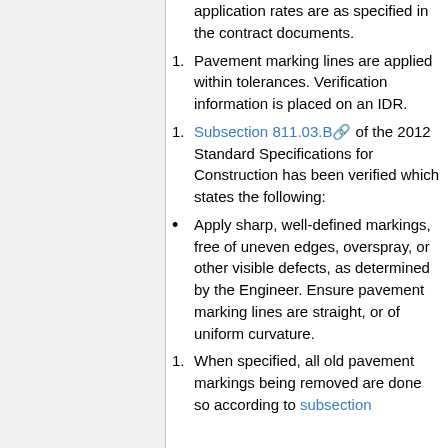application rates are as specified in the contract documents.
Pavement marking lines are applied within tolerances. Verification information is placed on an IDR.
Subsection 811.03.B of the 2012 Standard Specifications for Construction has been verified which states the following:
Apply sharp, well-defined markings, free of uneven edges, overspray, or other visible defects, as determined by the Engineer. Ensure pavement marking lines are straight, or of uniform curvature.
When specified, all old pavement markings being removed are done so according to subsection